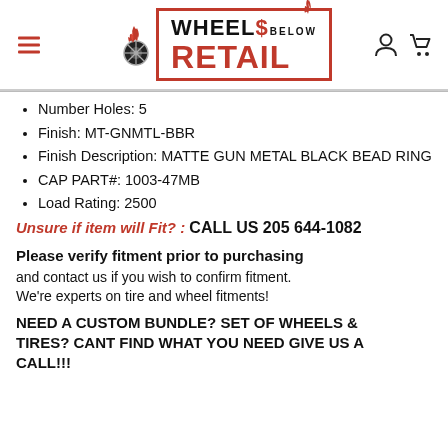[Figure (logo): Wheels Below Retail logo with flame and wheel icon, red border box, hamburger menu icon on left, user and cart icons on right]
Number Holes: 5
Finish: MT-GNMTL-BBR
Finish Description: MATTE GUN METAL BLACK BEAD RING
CAP PART#: 1003-47MB
Load Rating: 2500
Unsure if item will Fit? : CALL US 205 644-1082
Please verify fitment prior to purchasing and contact us if you wish to confirm fitment. We're experts on tire and wheel fitments!
NEED A CUSTOM BUNDLE? SET OF WHEELS & TIRES? CANT FIND WHAT YOU NEED GIVE US A CALL!!!